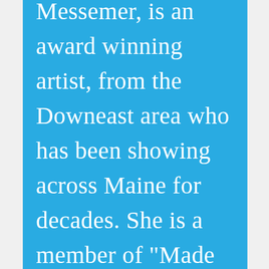Messemer, is an award winning artist, from the Downeast area who has been showing across Maine for decades. She is a member of “Made in Maine Americas Best”. She was available...